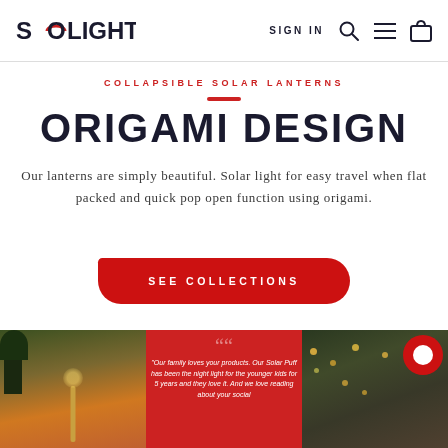SOLIGHT | SIGN IN
COLLAPSIBLE SOLAR LANTERNS
ORIGAMI DESIGN
Our lanterns are simply beautiful. Solar light for easy travel when flat packed and quick pop open function using origami.
SEE COLLECTIONS
[Figure (photo): Three bottom images: sunset photo with lantern post, red background testimonial card, outdoor string lights photo with red chat bubble icon]